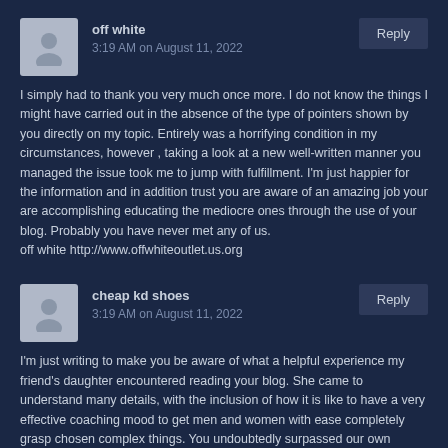off white
3:19 AM on August 11, 2022
I simply had to thank you very much once more. I do not know the things I might have carried out in the absence of the type of pointers shown by you directly on my topic. Entirely was a horrifying condition in my circumstances, however , taking a look at a new well-written manner you managed the issue took me to jump with fulfillment. I'm just happier for the information and in addition trust you are aware of an amazing job your are accomplishing educating the mediocre ones through the use of your blog. Probably you have never met any of us.
off white http://www.offwhiteoutlet.us.org
cheap kd shoes
3:19 AM on August 11, 2022
I'm just writing to make you be aware of what a helpful experience my friend's daughter encountered reading your blog. She came to understand many details, with the inclusion of how it is like to have a very effective coaching mood to get men and women with ease completely grasp chosen complex things. You undoubtedly surpassed our own expectations. I appreciate you for showing such beneficial, trustworthy, educational and even fun tips on that topic to Jane.
cheap kd shoes http://www.kevindurantshoes.us.com